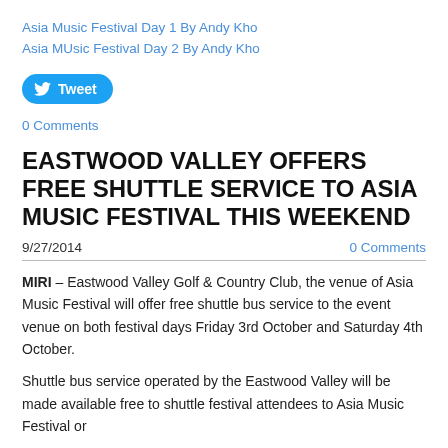Asia Music Festival Day 1 By Andy Kho
Asia MUsic Festival Day 2 By Andy Kho
[Figure (other): Tweet button with Twitter bird icon]
0 Comments
EASTWOOD VALLEY OFFERS FREE SHUTTLE SERVICE TO ASIA MUSIC FESTIVAL THIS WEEKEND
9/27/2014
0 Comments
MIRI – Eastwood Valley Golf & Country Club, the venue of Asia Music Festival will offer free shuttle bus service to the event venue on both festival days Friday 3rd October and Saturday 4th October.
Shuttle bus service operated by the Eastwood Valley will be made available free to shuttle festival attendees to Asia Music Festival or